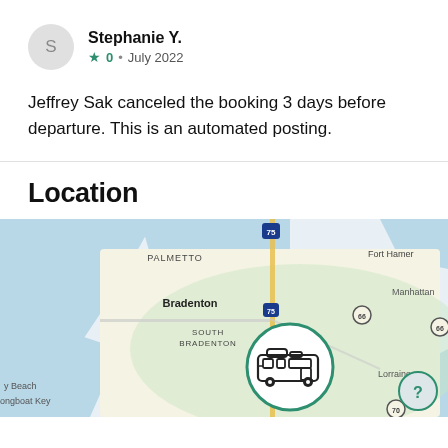S
Stephanie Y.
0 • July 2022
Jeffrey Sak canceled the booking 3 days before departure. This is an automated posting.
Location
[Figure (map): Google Maps style map showing Bradenton, Florida area including Palmetto, South Bradenton, Fort Hamer, Manhattan, and Lorraine. A green circle with RV icon marks the location. A help/question mark button appears bottom right.]